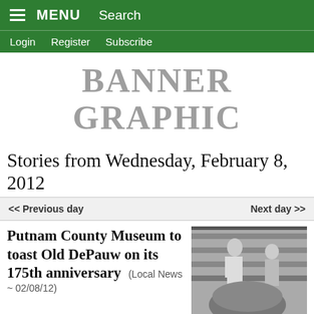MENU  Search
Login  Register  Subscribe
BANNER GRAPHIC
Stories from Wednesday, February 8, 2012
<< Previous day    Next day >>
Putnam County Museum to toast Old DePauw on its 175th anniversary  (Local News ~ 02/08/12)
[Figure (photo): Black and white photo showing two people standing near what appears to be a large round object or display, with shelving or equipment in the background.]
The Putnam County Museum's upcoming exhibit, opening with a reception on Thursday, Feb. 16 at 6:30 p.m., celebrates the 175th anniversary of the founding of DePauw University. The exhibit includes a timeline of student life and campus changes over the course of the university's 175-year history...